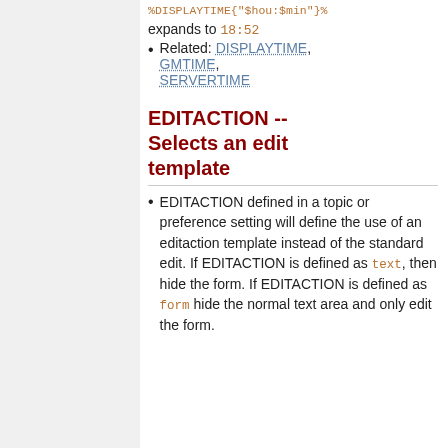%DISPLAYTIME{"$hou:$min"}% expands to 18:52
Related: DISPLAYTIME, GMTIME, SERVERTIME
EDITACTION -- Selects an edit template
EDITACTION defined in a topic or preference setting will define the use of an editaction template instead of the standard edit. If EDITACTION is defined as text, then hide the form. If EDITACTION is defined as form hide the normal text area and only edit the form.